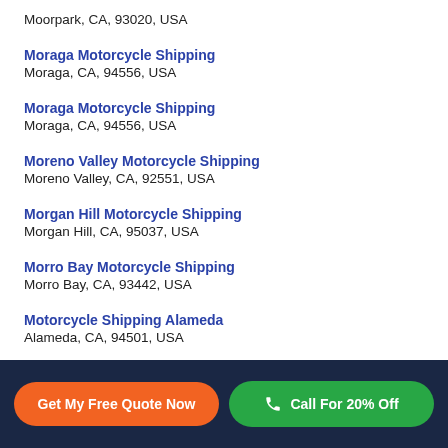Moorpark, CA, 93020, USA
Moraga Motorcycle Shipping
Moraga, CA, 94556, USA
Moraga Motorcycle Shipping
Moraga, CA, 94556, USA
Moreno Valley Motorcycle Shipping
Moreno Valley, CA, 92551, USA
Morgan Hill Motorcycle Shipping
Morgan Hill, CA, 95037, USA
Morro Bay Motorcycle Shipping
Morro Bay, CA, 93442, USA
Motorcycle Shipping Alameda
Alameda, CA, 94501, USA
Get My Free Quote Now | Call For 20% Off